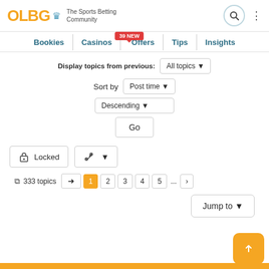OLBG - The Sports Betting Community
Bookies | Casinos | Offers (39 NEW) | Tips | Insights
Display topics from previous: All topics
Sort by: Post time
Descending
Go
Locked
333 topics  1  2  3  4  5  ...  >
Jump to